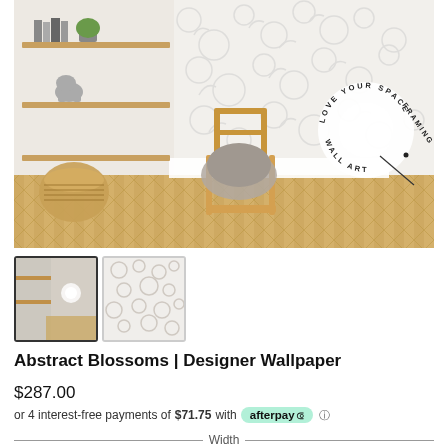[Figure (photo): Interior room scene showing a wooden chair with fur cushion against a white wall with abstract blossom wallpaper pattern. Wooden shelving unit on the left with books and plants. Herringbone wood floor. A circular badge overlay reads LOVE YOUR SPACE · WALL ART · FRAMING.]
[Figure (photo): Small thumbnail of the room scene - first thumbnail, active/selected state]
[Figure (photo): Small thumbnail showing close-up of the abstract blossom wallpaper pattern in grey on white]
Abstract Blossoms | Designer Wallpaper
$287.00
or 4 interest-free payments of $71.75 with afterpay
— Width —